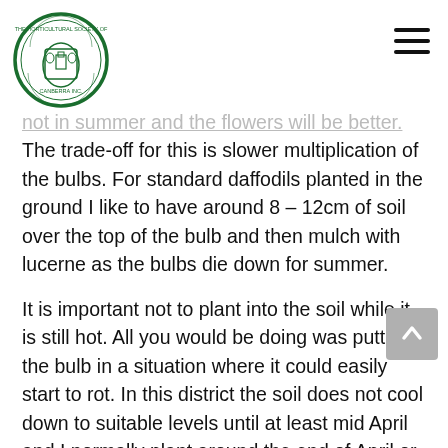Horticultural Society of Canberra Inc. logo and navigation menu
not in summer and the flowers will be better. The trade-off for this is slower multiplication of the bulbs. For standard daffodils planted in the ground I like to have around 8 – 12cm of soil over the top of the bulb and then mulch with lucerne as the bulbs die down for summer.
It is important not to plant into the soil while it is still hot. All you would be doing was putting the bulb in a situation where it could easily start to rot. In this district the soil does not cool down to suitable levels until at least mid April and I normally plant around the end of April or early May. Planting at this time you should be able to water immediately on planting and growth should start almost